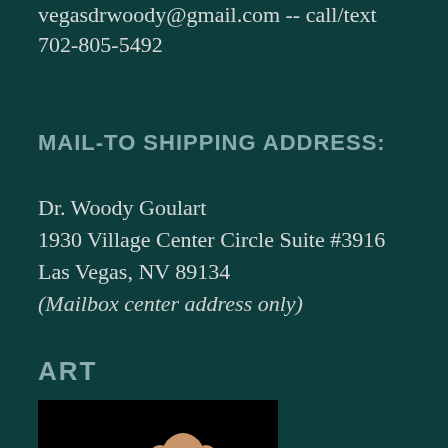vegasdrwoody@gmail.com -- call/text 702-805-5492
MAIL-TO SHIPPING ADDRESS:
Dr. Woody Goulart
1930 Village Center Circle Suite #3916
Las Vegas, NV 89134
(Mailbox center address only)
ART
[Figure (photo): Photo of a shirtless man with hands behind head, with text 'SEE HIS ART' in blue, and a colorful spherical object at the bottom, on a black background.]